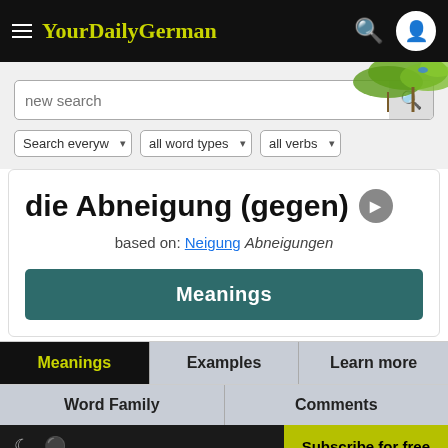YourDailyGerman
[Figure (screenshot): Search bar with placeholder 'new search' and search button]
Search everyw ▾   all word types ▾   all verbs ▾
die Abneigung (gegen)
based on: Neigung Abneigungen
Meanings
Meanings | Examples | Learn more
Word Family | Comments
Subscribe for free